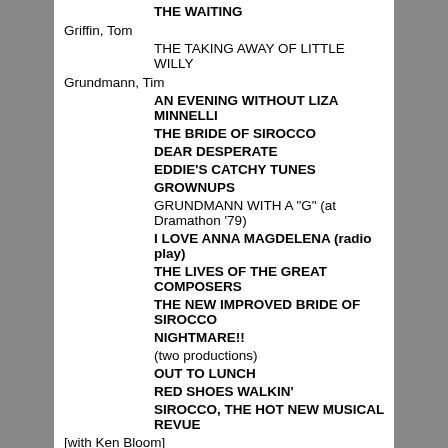THE WAITING
Griffin, Tom
THE TAKING AWAY OF LITTLE WILLY
Grundmann, Tim
AN EVENING WITHOUT LIZA MINNELLI
THE BRIDE OF SIROCCO
DEAR DESPERATE
EDDIE'S CATCHY TUNES
GROWNUPS
GRUNDMANN WITH A "G" (at Dramathon '79)
I LOVE ANNA MAGDELENA (radio play)
THE LIVES OF THE GREAT COMPOSERS
THE NEW IMPROVED BRIDE OF SIROCCO
NIGHTMARE!! (two productions)
OUT TO LUNCH
RED SHOES WALKIN'
SIROCCO, THE HOT NEW MUSICAL REVUE [with Ken Bloom]
SONGS FROM EDDIE'S CATCHY TUNES (at